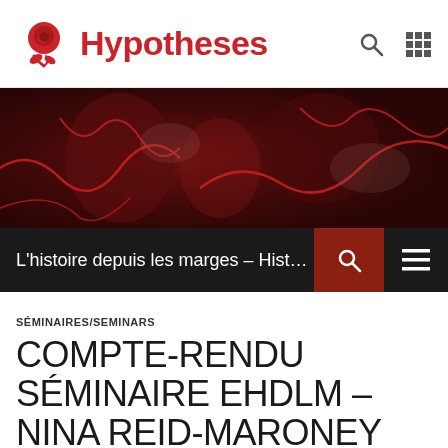Hypotheses
[Figure (photo): Dark red abstract banner image with cracked texture patterns in red on dark background]
L'histoire depuis les marges – History Fro...
SÉMINAIRES/SEMINARS
COMPTE-RENDU SÉMINAIRE EHDLM – NINA REID-MARONEY (13 MARS 2014)
MAI 19, 2014 · EHDLM · LAISSER UN COMMENTAIRE